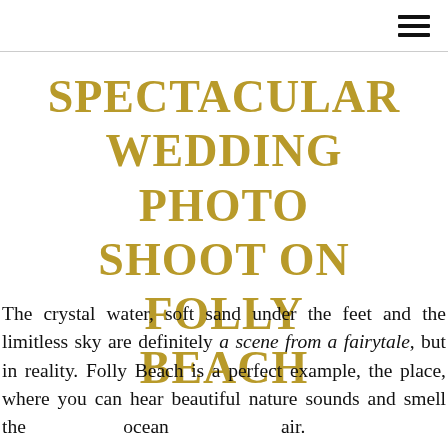SPECTACULAR WEDDING PHOTO SHOOT ON FOLLY BEACH
The crystal water, soft sand under the feet and the limitless sky are definitely a scene from a fairytale, but in reality. Folly Beach is a perfect example, the place, where you can hear beautiful nature sounds and smell the ocean air.